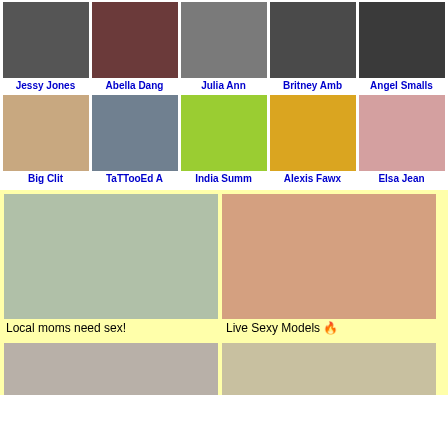[Figure (photo): Thumbnail grid row 1: Jessy Jones, Abella Dang, Julia Ann, Britney Amb, Angel Smalls]
[Figure (photo): Thumbnail grid row 2: Big Clit, TaTTooEd A, India Summ, Alexis Fawx, Elsa Jean]
[Figure (photo): Ad image left - woman outdoors in snow]
Local moms need sex!
[Figure (photo): Ad image right - close up]
Live Sexy Models 🔥
[Figure (photo): Bottom row left thumbnail]
[Figure (photo): Bottom row right thumbnail]